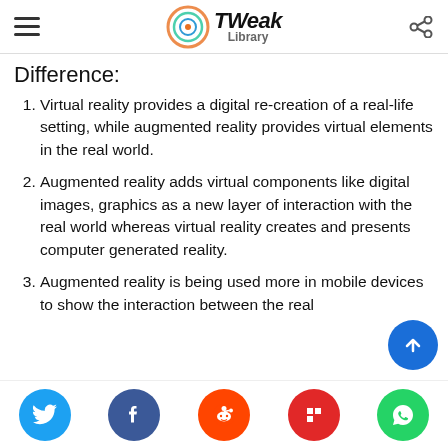Tweak Library
Difference:
Virtual reality provides a digital re-creation of a real-life setting, while augmented reality provides virtual elements in the real world.
Augmented reality adds virtual components like digital images, graphics as a new layer of interaction with the real world whereas virtual reality creates and presents computer generated reality.
Augmented reality is being used more in mobile devices to show the interaction between the real
Social share buttons: Twitter, Facebook, Reddit, Flipboard, WhatsApp